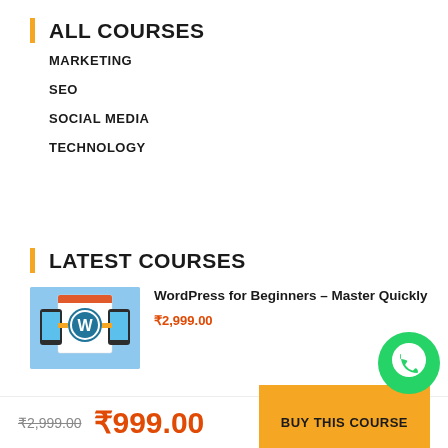ALL COURSES
MARKETING
SEO
SOCIAL MEDIA
TECHNOLOGY
LATEST COURSES
[Figure (illustration): WordPress logo on a tablet/phone screen illustration with blue background]
WordPress for Beginners – Master Quickly
₹2,999.00
₹2,999.00 ₹999.00
BUY THIS COURSE